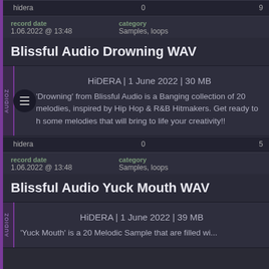hidera   0   9
record date: 1.06.2022 @ 13:48   category: Samples, loops
Blissful Audio Drowning WAV
HiDERA | 1 June 2022 | 30 MB
'Drowning' from Blissful Audio is a Banging collection of 20 melodies, inspired by Hip Hop & R&B Hitmakers. Get ready to h some melodies that will bring to life your creativity!!
hidera   0   5
record date: 1.06.2022 @ 13:48   category: Samples, loops
Blissful Audio Yuck Mouth WAV
HiDERA | 1 June 2022 | 39 MB
'Yuck Mouth' is a 20 Melodic Sample that are filled wi...